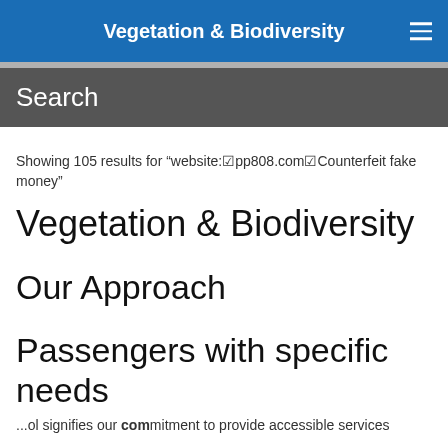Vegetation & Biodiversity
Search
Showing 105 results for “website:☑pp808.com☑Counterfeit fake money”
Vegetation & Biodiversity
Our Approach
Passengers with specific needs
...ol signifies our commitment to provide accessible services